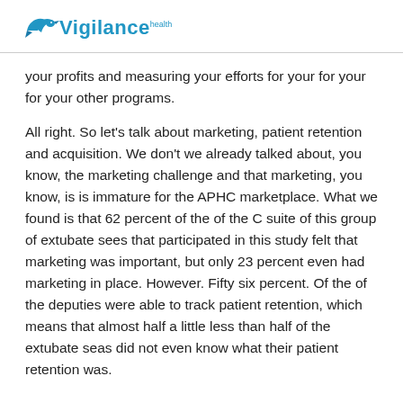Vigilance health
your profits and measuring your efforts for your for your for your other programs.
All right. So let's talk about marketing, patient retention and acquisition. We don't we already talked about, you know, the marketing challenge and that marketing, you know, is is immature for the APHC marketplace. What we found is that 62 percent of the of the C suite of this group of extubate sees that participated in this study felt that marketing was important, but only 23 percent even had marketing in place. However. Fifty six percent. Of the of the deputies were able to track patient retention, which means that almost half a little less than half of the extubate seas did not even know what their patient retention was.